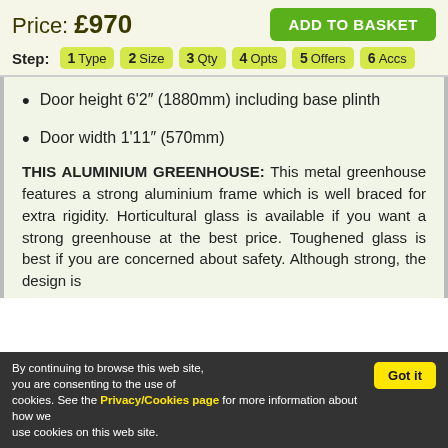Price: £970
ADD TO BASKET
Step: 1 Type 2 Size 3 Qty 4 Opts 5 Offers 6 Accs
Door height 6'2" (1880mm) including base plinth
Door width 1'11" (570mm)
THIS ALUMINIUM GREENHOUSE: This metal greenhouse features a strong aluminium frame which is well braced for extra rigidity. Horticultural glass is available if you want a strong greenhouse at the best price. Toughened glass is best if you are concerned about safety. Although strong, the design is
By continuing to browse this web site, you are consenting to the use of cookies. See the Privacy/Cookies page for more information about how we use cookies on this web site.